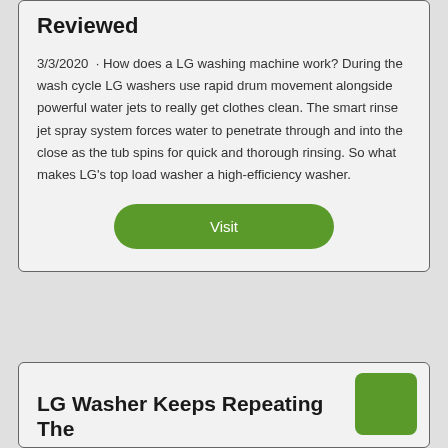Reviewed
3/3/2020 · How does a LG washing machine work? During the wash cycle LG washers use rapid drum movement alongside powerful water jets to really get clothes clean. The smart rinse jet spray system forces water to penetrate through and into the close as the tub spins for quick and thorough rinsing. So what makes LG's top load washer a high-efficiency washer.
[Figure (other): Green Visit button]
[Figure (other): Green square icon in top-right of second card]
LG Washer Keeps Repeating The